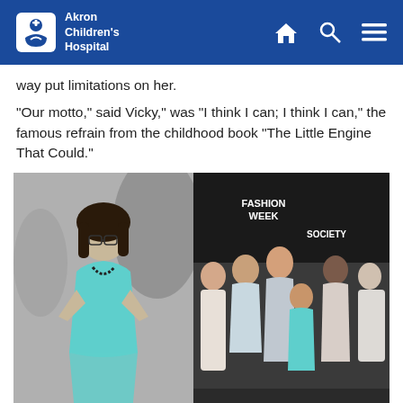Akron Children's Hospital
way put limitations on her.
"Our motto," said Vicky," was "I think I can; I think I can," the famous refrain from the childhood book "The Little Engine That Could."
[Figure (photo): Left: Black and white photo of a young girl wearing glasses and a teal/turquoise halter dress with a beaded necklace, posing with hands on hips. Right: Color group photo of several girls and young women posing at what appears to be a Fashion Week event, with a backdrop showing 'FASHION WEEK' and 'SOCIETY' text. One girl in center wears a teal outfit.]